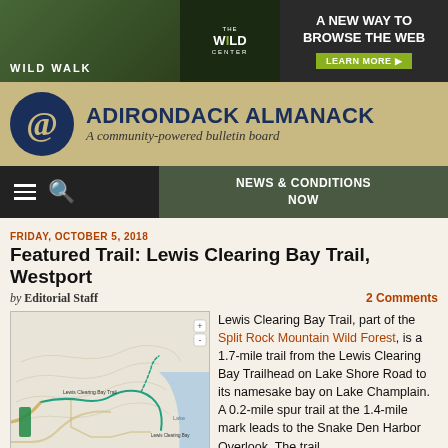[Figure (screenshot): Advertisement banner for Wild Walk / The Wild Center: 'A NEW WAY TO BROWSE THE WEB' with LEARN MORE button]
ADIRONDACK ALMANACK – A community-powered bulletin board
[Figure (infographic): Navigation bar with hamburger menu, search icon, and NEWS & CONDITIONS NOW button]
FRIDAY, OCTOBER 5, 2018
Featured Trail: Lewis Clearing Bay Trail, Westport
by Editorial Staff
2 Comments
[Figure (map): Topographic trail map showing Lewis Clearing Bay Trail in Westport area near Lake Champlain]
Lewis Clearing Bay Trail, part of the Split Rock Mountain Wild Forest, is a 1.7-mile trail from the Lewis Clearing Bay Trailhead on Lake Shore Road to its namesake bay on Lake Champlain. A 0.2-mile spur trail at the 1.4-mile mark leads to the Snake Den Harbor Overlook. The trail climbs 200 feet in the first 0.7 mile before dropping 450 feet down to the